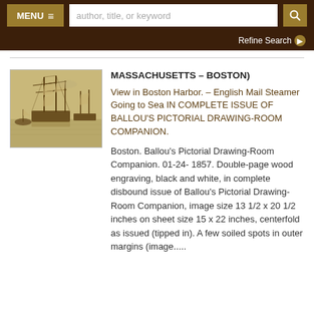MENU  author, title, or keyword  Refine Search
[Figure (illustration): Sepia-toned wood engraving showing sailing ships in Boston Harbor with masts and rigging, small boats in foreground]
MASSACHUSETTS - BOSTON)
View in Boston Harbor. - English Mail Steamer Going to Sea IN COMPLETE ISSUE OF BALLOU'S PICTORIAL DRAWING-ROOM COMPANION.
Boston. Ballou's Pictorial Drawing-Room Companion. 01-24- 1857. Double-page wood engraving, black and white, in complete disbound issue of Ballou's Pictorial Drawing-Room Companion, image size 13 1/2 x 20 1/2 inches on sheet size 15 x 22 inches, centerfold as issued (tipped in). A few soiled spots in outer margins (image.....